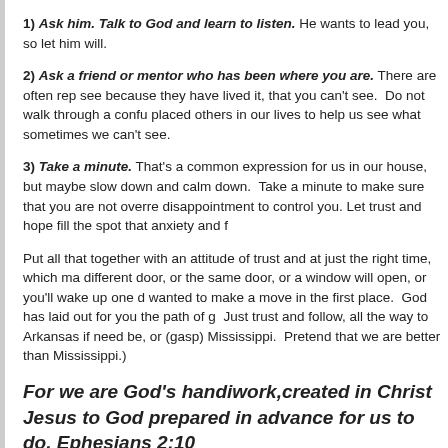1) Ask him. Talk to God and learn to listen. He wants to lead you, so let him will.
2) Ask a friend or mentor who has been where you are. There are often rep see because they have lived it, that you can't see. Do not walk through a confu placed others in our lives to help us see what sometimes we can't see.
3) Take a minute. That's a common expression for us in our house, but maybe slow down and calm down. Take a minute to make sure that you are not overre disappointment to control you. Let trust and hope fill the spot that anxiety and f
Put all that together with an attitude of trust and at just the right time, which ma different door, or the same door, or a window will open, or you'll wake up one d wanted to make a move in the first place. God has laid out for you the path of g Just trust and follow, all the way to Arkansas if need be, or (gasp) Mississippi. Pretend that we are better than Mississippi.)
For we are God's handiwork,created in Christ Jesus to God prepared in advance for us to do. Ephesians 2:10
Tags: faith, God's will, The Path, trust